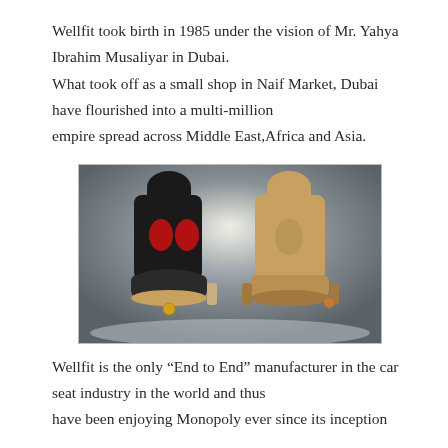Wellfit took birth in 1985 under the vision of Mr. Yahya Ibrahim Musaliyar in Dubai. What took off as a small shop in Naif Market, Dubai have flourished into a multi-million empire spread across Middle East,Africa and Asia.
[Figure (photo): Two car seat covers displayed back to back: one black with red Wellfit logo design, one beige/tan with Wellfit logo, against a grey misty background.]
Wellfit is the only “End to End” manufacturer in the car seat industry in the world and thus have been enjoying Monopoly ever since its inception